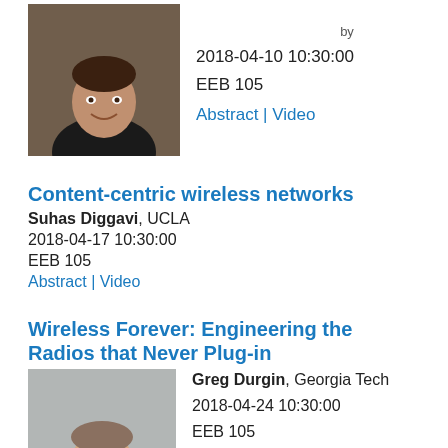[Figure (photo): Headshot photo of a man in a dark shirt, smiling, against a dark background.]
2018-04-10 10:30:00
EEB 105
Abstract | Video
Content-centric wireless networks
Suhas Diggavi, UCLA
2018-04-17 10:30:00
EEB 105
Abstract | Video
Wireless Forever: Engineering the Radios that Never Plug-in
[Figure (photo): Headshot photo of a man in a white shirt and tie, smiling, with equipment in the background.]
Greg Durgin, Georgia Tech
2018-04-24 10:30:00
EEB 105
Abstract | Video